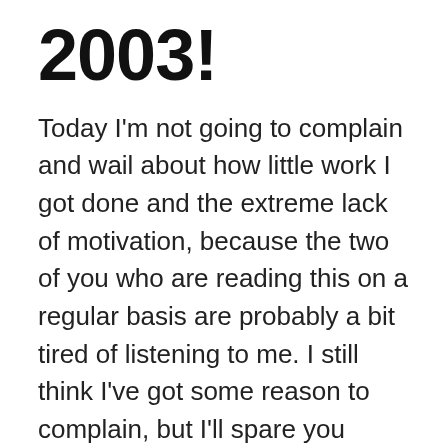2003!
Today I'm not going to complain and wail about how little work I got done and the extreme lack of motivation, because the two of you who are reading this on a regular basis are probably a bit tired of listening to me. I still think I've got some reason to complain, but I'll spare you today and save it for tomorrow instead.
I listened to Pete Yorn's latest release on his website, and I'm going to buy the album, for sure. A few songs sounded good right away, a couple was OK, but I think most of them are